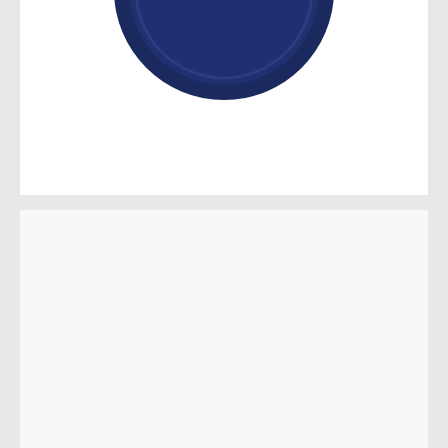[Figure (logo): Partial dark navy blue circular logo or emblem at the top, mostly cropped, showing the bottom arc of a circular seal]
[Figure (logo): Keck Medicine of USC logo text — 'Keck Medicine' in dark charcoal serif font and 'of USC' where 'USC' is in dark red/maroon serif font]